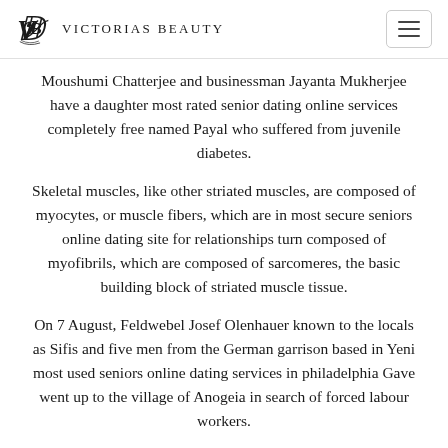Victorias Beauty
Moushumi Chatterjee and businessman Jayanta Mukherjee have a daughter most rated senior dating online services completely free named Payal who suffered from juvenile diabetes.
Skeletal muscles, like other striated muscles, are composed of myocytes, or muscle fibers, which are in most secure seniors online dating site for relationships turn composed of myofibrils, which are composed of sarcomeres, the basic building block of striated muscle tissue.
On 7 August, Feldwebel Josef Olenhauer known to the locals as Sifis and five men from the German garrison based in Yeni most used seniors online dating services in philadelphia Gave went up to the village of Anogeia in search of forced labour workers.